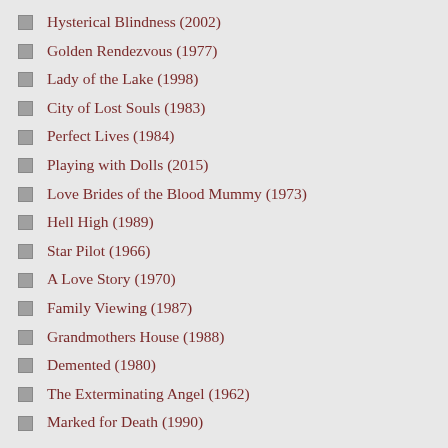Hysterical Blindness (2002)
Golden Rendezvous (1977)
Lady of the Lake (1998)
City of Lost Souls (1983)
Perfect Lives (1984)
Playing with Dolls (2015)
Love Brides of the Blood Mummy (1973)
Hell High (1989)
Star Pilot (1966)
A Love Story (1970)
Family Viewing (1987)
Grandmothers House (1988)
Demented (1980)
The Exterminating Angel (1962)
Marked for Death (1990)